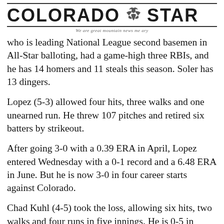COLORADO STAR — We are great mountain news me ary
who is leading National League second basemen in All-Star balloting, had a game-high three RBIs, and he has 14 homers and 11 steals this season. Soler has 13 dingers.
Lopez (5-3) allowed four hits, three walks and one unearned run. He threw 107 pitches and retired six batters by strikeout.
After going 3-0 with a 0.39 ERA in April, Lopez entered Wednesday with a 0-1 record and a 6.48 ERA in June. But he is now 3-0 in four career starts against Colorado.
Chad Kuhl (4-5) took the loss, allowing six hits, two walks and four runs in five innings. He is 0-5 in seven career games against Miami.